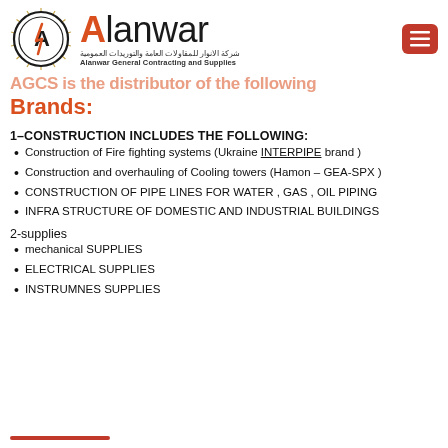[Figure (logo): Alanwar General Contracting and Supplies logo with circular emblem and company name in English and Arabic]
AGCS is the distributor of the following Brands:
1–CONSTRUCTION INCLUDES THE FOLLOWING:
Construction of Fire fighting systems (Ukraine INTERPIPE brand )
Construction and overhauling of Cooling towers (Hamon – GEA-SPX )
CONSTRUCTION OF PIPE LINES FOR WATER , GAS , OIL PIPING
INFRA STRUCTURE OF DOMESTIC AND INDUSTRIAL BUILDINGS
2-supplies
mechanical SUPPLIES
ELECTRICAL SUPPLIES
INSTRUMNES SUPPLIES